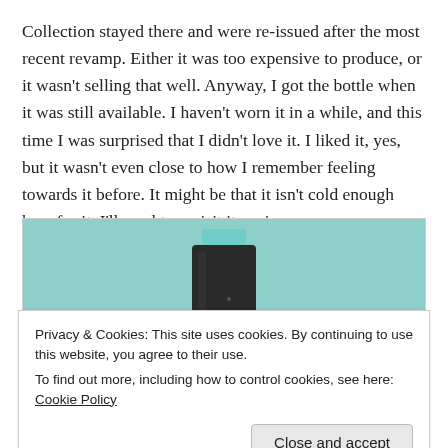Collection stayed there and were re-issued after the most recent revamp. Either it was too expensive to produce, or it wasn't selling that well. Anyway, I got the bottle when it was still available. I haven't worn it in a while, and this time I was surprised that I didn't love it. I liked it, yes, but it wasn't even close to how I remember feeling towards it before. It might be that it isn't cold enough here for it. I'll need to revisit it again soon.
[Figure (photo): A dark cylindrical bottle/jar of MITZAH perfume or cosmetic product against a teal/mint green background, partially obscured by a cookie consent banner.]
Privacy & Cookies: This site uses cookies. By continuing to use this website, you agree to their use.
To find out more, including how to control cookies, see here: Cookie Policy
Close and accept